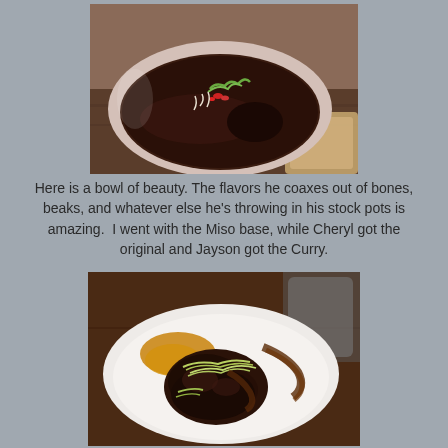[Figure (photo): A bowl of dark ramen soup topped with green onions, red peppers, bean sprouts and other garnishes, served in a white ceramic bowl on a wooden table.]
Here is a bowl of beauty. The flavors he coaxes out of bones, beaks, and whatever else he's throwing in his stock pots is amazing.  I went with the Miso base, while Cheryl got the original and Jayson got the Curry.
[Figure (photo): A white oval plate containing braised meat topped with shredded green onions and a rich brown curry sauce, served on a dark wooden table.]